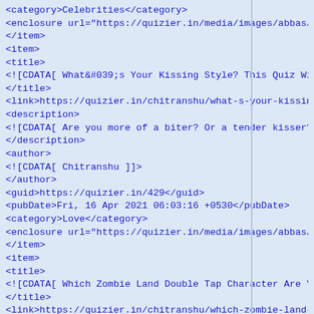XML/RSS feed source code snippet showing quiz items from quizier.in, including categories Celebrities and Love, with titles about Kissing Style and Zombie Land Double Tap Character quizzes.